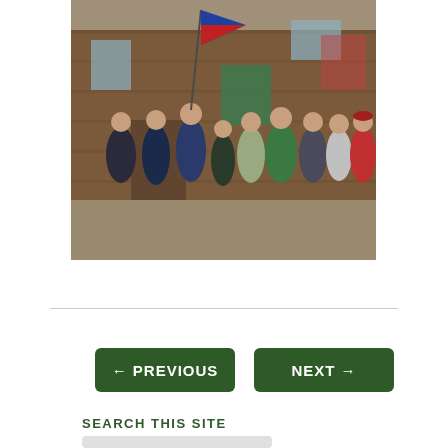[Figure (photo): Group of approximately 9 people standing in front of a rustic wooden building. One person holds a blue and red flag. People are wearing casual outdoor clothing in various colors including blue, green, and red.]
← PREVIOUS
NEXT →
SEARCH THIS SITE